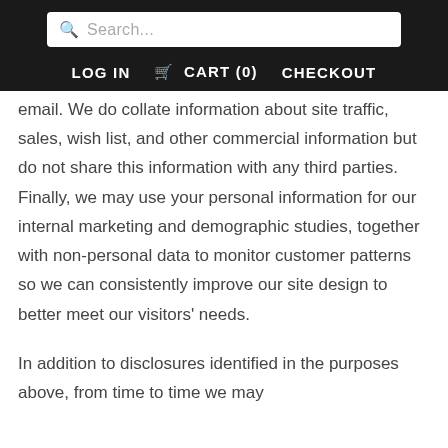Search... | LOG IN | CART (0) | CHECKOUT
email. We do collate information about site traffic, sales, wish list, and other commercial information but do not share this information with any third parties. Finally, we may use your personal information for our internal marketing and demographic studies, together with non-personal data to monitor customer patterns so we can consistently improve our site design to better meet our visitors' needs.
In addition to disclosures identified in the purposes above, from time to time we may